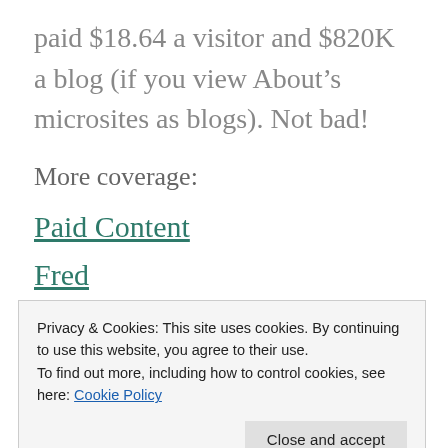paid $18.64 a visitor and $820K a blog (if you view About's microsites as blogs). Not bad!
More coverage:
Paid Content
Fred
Privacy & Cookies: This site uses cookies. By continuing to use this website, you agree to their use.
To find out more, including how to control cookies, see here: Cookie Policy
Close and accept
gig with Martin's group last Fall, we did not